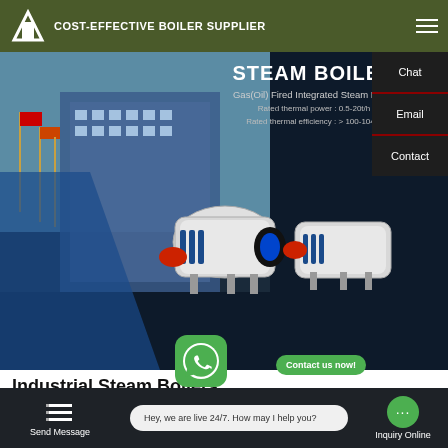COST-EFFECTIVE BOILER SUPPLIER
[Figure (screenshot): Boiler company website hero section showing two white industrial steam boilers with blue and red flame elements against a dark background, with a building/flags image on the left. Text overlay reads STEAM BOILER, Gas(Oil) Fired Integrated Steam Boiler, Rated thermal power: 0.5-20t/h, Rated thermal efficiency: > 100-104%]
Chat
Email
Industrial Steam Bo
Contact us now!
Contact us now!
Contact
Send Message  Hey, we are live 24/7. How may I help you?  Inquiry Online